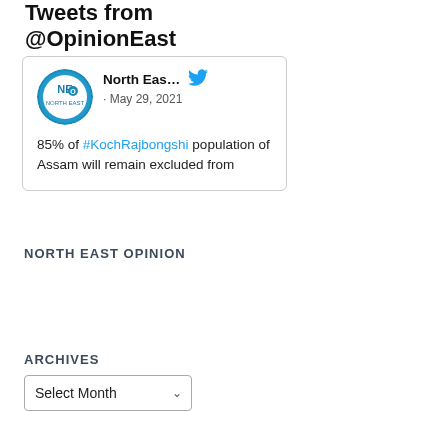Tweets from @OpinionEast
[Figure (screenshot): Tweet card from North East... account dated May 29, 2021 with circular NEO logo avatar and Twitter bird icon. Tweet text: 85% of #KochRajbongshi population of Assam will remain excluded from]
NORTH EAST OPINION
ARCHIVES
Select Month